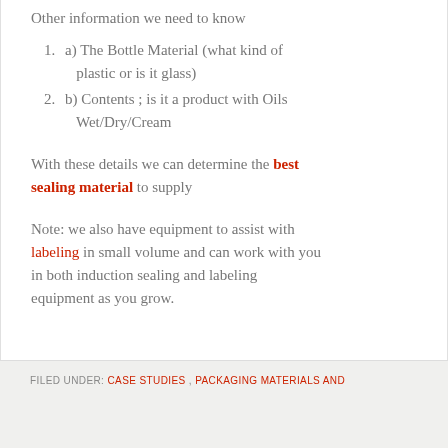Other information we need to know
a) The Bottle Material (what kind of plastic or is it glass)
b) Contents ; is it a product with Oils Wet/Dry/Cream
With these details we can determine the best sealing material to supply
Note: we also have equipment to assist with labeling in small volume and can work with you in both induction sealing and labeling equipment as you grow.
FILED UNDER: CASE STUDIES , PACKAGING MATERIALS AND